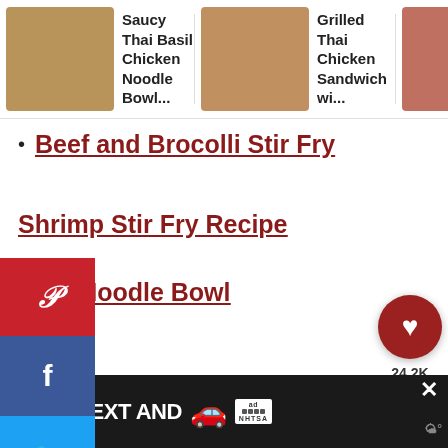[Figure (screenshot): Top carousel with food recipe thumbnails: Saucy Thai Basil Chicken Noodle Bowl, Grilled Thai Chicken Sandwich wi..., Easy Chick Marsa Recipe with right arrow]
Beef and Brocolli Stir Fry
Shrimp Stir Fry Recipe
Beef Noodle Bowl
[Figure (screenshot): Social sharing sidebar buttons: Pinterest (red), Facebook (dark blue), Twitter (light blue), Yummly (orange)]
[Figure (screenshot): Floating heart/save button showing 24.2K saves, and a share button]
[Figure (screenshot): Ad banner at bottom: DON'T TEXT AND [car emoji] with NHTSA logo and close button]